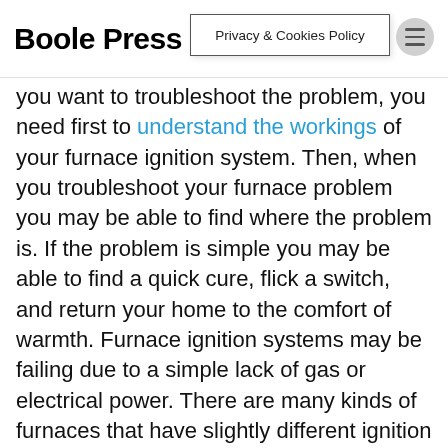Boole Press | Privacy & Cookies Policy
you want to troubleshoot the problem, you need first to understand the workings of your furnace ignition system. Then, when you troubleshoot your furnace problem you may be able to find where the problem is. If the problem is simple you may be able to find a quick cure, flick a switch, and return your home to the comfort of warmth. Furnace ignition systems may be failing due to a simple lack of gas or electrical power. There are many kinds of furnaces that have slightly different ignition systems. However, if you follow the troubleshooting steps and cures we have described in this article and the furnace ignites you can be lucky. If you perform the recommended checks and fail, at least you know that when the plumber does arrive, you won't be likely to be wasting his time. Finally, don't ever be tempted to